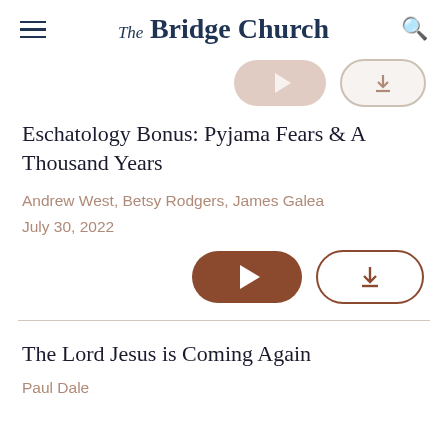The Bridge Church
[Figure (screenshot): Partial view of media player buttons — a brownish play button and a download button, partially visible at top]
Eschatology Bonus: Pyjama Fears & A Thousand Years
Andrew West, Betsy Rodgers, James Galea
July 30, 2022
[Figure (other): Play button (brown pill shape) and download button (outlined pill shape)]
The Lord Jesus is Coming Again
Paul Dale